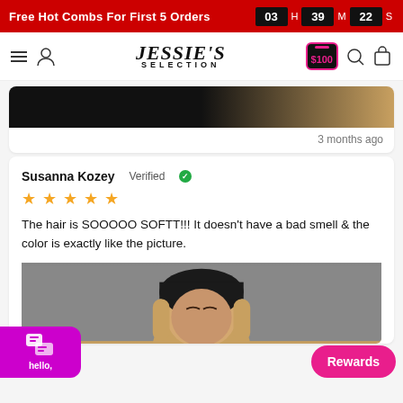Free Hot Combs For First 5 Orders  03 H 39 M 22 S
[Figure (logo): Jessie's Selection logo with hamburger menu, user icon, $100 reward badge, search icon, and cart icon]
[Figure (photo): Partial image of dark and blonde hair product - top of review card]
3 months ago
Susanna Kozey Verified
[Figure (other): Five gold star rating]
The hair is SOOOOO SOFTT!!! It doesn't have a bad smell & the color is exactly like the picture.
[Figure (photo): Photo of woman wearing ombre hair wig, dark roots to blonde ends, gray background]